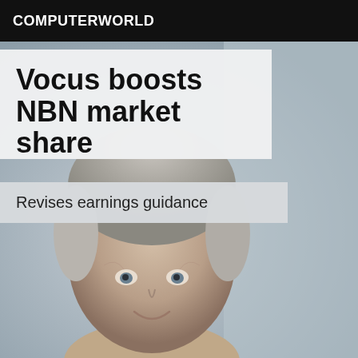COMPUTERWORLD
Vocus boosts NBN market share
Revises earnings guidance
[Figure (photo): Close-up photo of an older man with grey hair, smiling slightly, against a blurred grey background.]